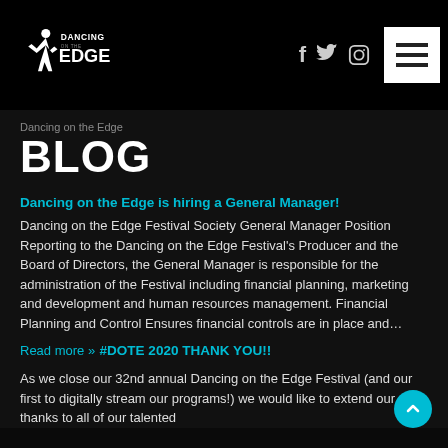Dancing on the Edge - Blog
BLOG
Dancing on the Edge is hiring a General Manager!
Dancing on the Edge Festival Society General Manager Position Reporting to the Dancing on the Edge Festival's Producer and the Board of Directors, the General Manager is responsible for the administration of the Festival including financial planning, marketing and development and human resources management. Financial Planning and Control Ensures financial controls are in place and…
Read more »
#DOTE 2020 THANK YOU!!
As we close our 32nd annual Dancing on the Edge Festival (and our first to digitally stream our programs!) we would like to extend our thanks to all of our talented